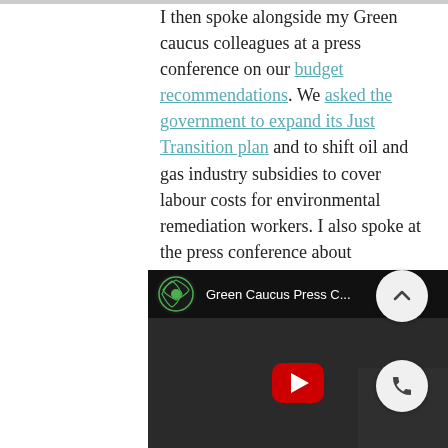I then spoke alongside my Green caucus colleagues at a press conference on our budget recommendations. We asked the government to expand its Just Transition plan and to shift oil and gas industry subsidies to cover labour costs for environmental remediation workers. I also spoke at the press conference about affordable housing, healthcare infrastructure, and the conservation of nature.
[Figure (screenshot): YouTube video thumbnail for 'Green Caucus Press C...' showing the Green Party logo (circular green design), video title text, and a play button over a dark video frame with people visible.]